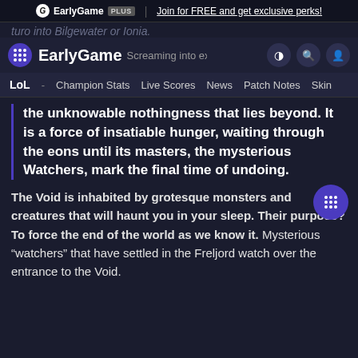EarlyGame PLUS | Join for FREE and get exclusive perks!
EarlyGame — Screaming into existence with the birth of
LoL - Champion Stats  Live Scores  News  Patch Notes  Skin
the unknowable nothingness that lies beyond. It is a force of insatiable hunger, waiting through the eons until its masters, the mysterious Watchers, mark the final time of undoing.
The Void is inhabited by grotesque monsters and creatures that will haunt you in your sleep. Their purpose? To force the end of the world as we know it. Mysterious “watchers” that have settled in the Freljord watch over the entrance to the Void.